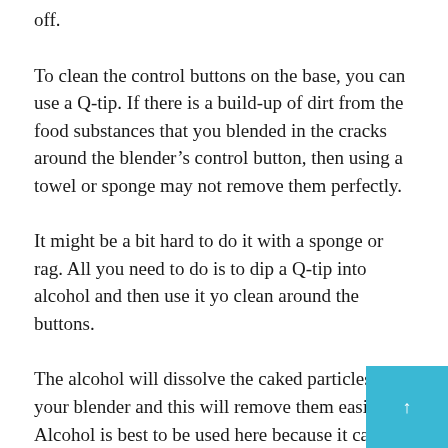off.
To clean the control buttons on the base, you can use a Q-tip. If there is a build-up of dirt from the food substances that you blended in the cracks around the blender’s control button, then using a towel or sponge may not remove them perfectly.
It might be a bit hard to do it with a sponge or rag. All you need to do is to dip a Q-tip into alcohol and then use it yo clean around the buttons.
The alcohol will dissolve the caked particles on your blender and this will remove them easily. Alcohol is best to be used here because it can evaporate and dry up quickly.
After that, you can then clean off any moisture th is present on the base of the blender.